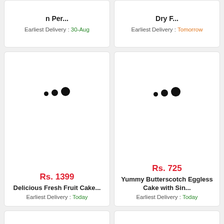n Per...
Earliest Delivery : 30-Aug
Dry F...
Earliest Delivery : Tomorrow
[Figure (other): Loading spinner dots for product image]
Rs. 1399
Delicious Fresh Fruit Cake...
Earliest Delivery : Today
[Figure (other): Loading spinner dots for product image]
Rs. 725
Yummy Butterscotch Eggless Cake with Sin...
Earliest Delivery : Today